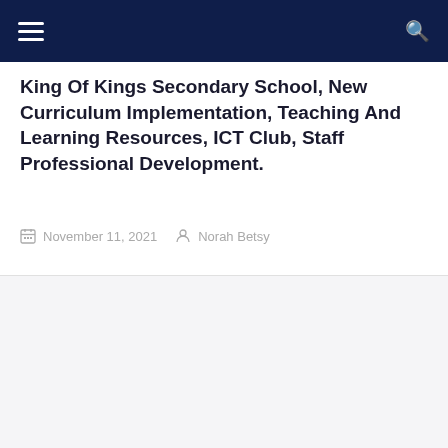Navigation bar with hamburger menu and search icon
King Of Kings Secondary School, New Curriculum Implementation, Teaching And Learning Resources, ICT Club, Staff Professional Development.
November 11, 2021  Norah Betsy